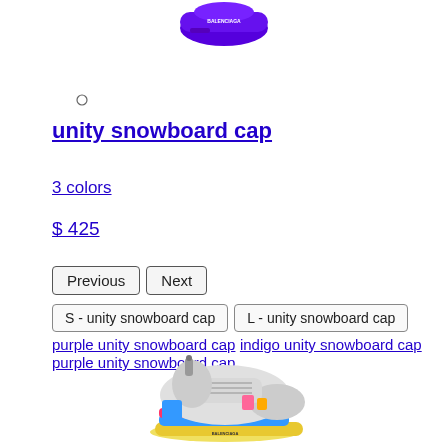[Figure (photo): Purple Balenciaga unity snowboard cap product image, top cropped view]
[Figure (other): Small circular color swatch, empty circle outline]
unity snowboard cap
3 colors
$ 425
Previous  Next
S - unity snowboard cap   L - unity snowboard cap
purple unity snowboard cap indigo unity snowboard cap purple unity snowboard cap
[Figure (photo): Colorful Balenciaga sneaker/trainer shoe product image, bottom of page]